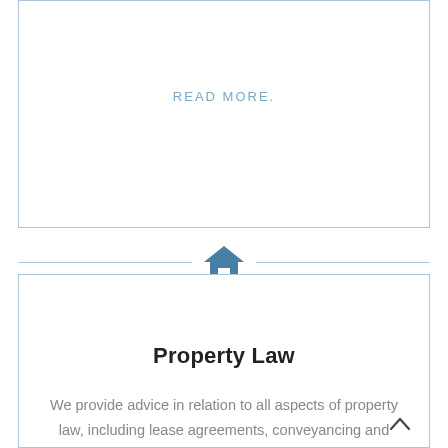READ MORE.
[Figure (illustration): Home/house icon in steel blue color centered between two horizontal divider lines]
Property Law
We provide advice in relation to all aspects of property law, including lease agreements, conveyancing and property related disputes.